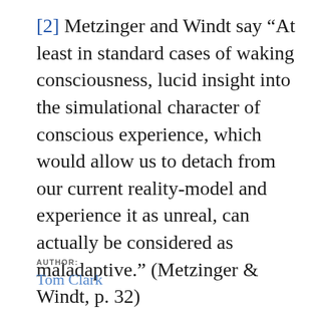[2] Metzinger and Windt say “At least in standard cases of waking consciousness, lucid insight into the simulational character of conscious experience, which would allow us to detach from our current reality-model and experience it as unreal, can actually be considered as maladaptive.” (Metzinger & Windt, p. 32)
AUTHOR:
Tom Clark